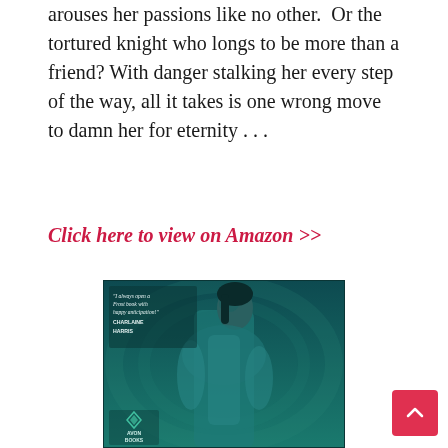arouses her passions like no other.  Or the tortured knight who longs to be more than a friend? With danger stalking her every step of the way, all it takes is one wrong move to damn her for eternity . . .
Click here to view on Amazon >>
[Figure (photo): Book cover showing a shirtless dark-haired man against a teal background with a quote from Charlaine Harris and the Avon Books logo]